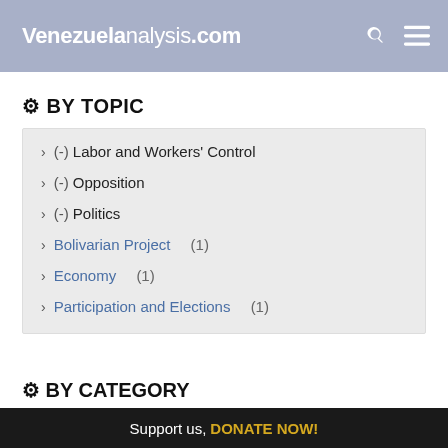Venezuelanalysis.com
BY TOPIC
(-) Labor and Workers' Control
(-) Opposition
(-) Politics
Bolivarian Project (1)
Economy (1)
Participation and Elections (1)
BY CATEGORY
Support us, DONATE NOW!